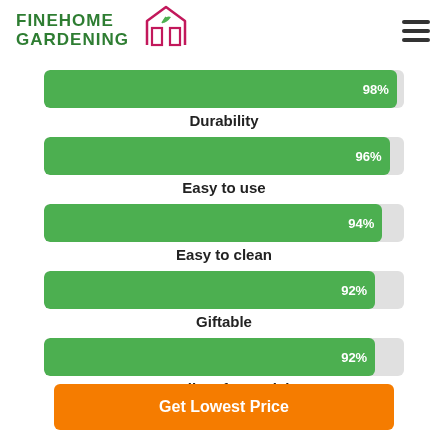FINEHOME GARDENING
[Figure (bar-chart): Product Ratings]
Get Lowest Price